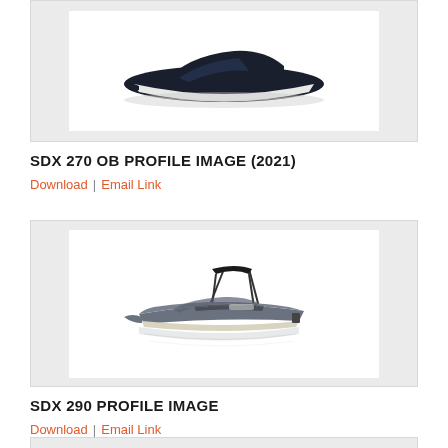[Figure (photo): Partial view of a dark-colored speed boat (top portion cut off) shown in profile view with reflection, on white background, inside a light gray card]
SDX 270 OB PROFILE IMAGE (2021)
Download  |  Email Link
[Figure (photo): Gray sport boat with bimini top shown in profile view with reflection on white background, inside a light gray card]
SDX 290 PROFILE IMAGE
Download  |  Email Link
[Figure (photo): Partial bottom view of another boat image card, cut off at page bottom]